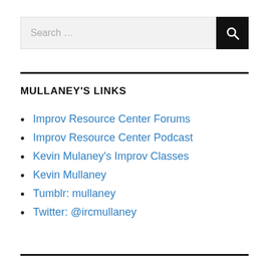Search ...
MULLANEY'S LINKS
Improv Resource Center Forums
Improv Resource Center Podcast
Kevin Mulaney's Improv Classes
Kevin Mullaney
Tumblr: mullaney
Twitter: @ircmullaney